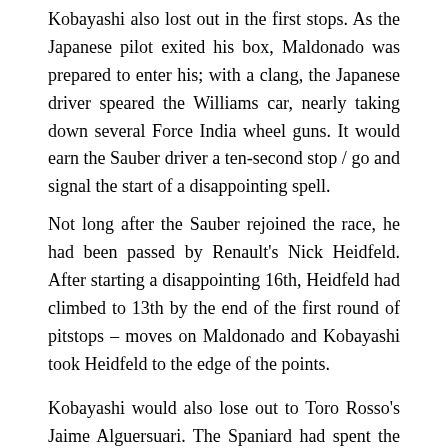Kobayashi also lost out in the first stops. As the Japanese pilot exited his box, Maldonado was prepared to enter his; with a clang, the Japanese driver speared the Williams car, nearly taking down several Force India wheel guns. It would earn the Sauber driver a ten-second stop / go and signal the start of a disappointing spell.
Not long after the Sauber rejoined the race, he had been passed by Renault's Nick Heidfeld. After starting a disappointing 16th, Heidfeld had climbed to 13th by the end of the first round of pitstops – moves on Maldonado and Kobayashi took Heidfeld to the edge of the points.
Kobayashi would also lose out to Toro Rosso's Jaime Alguersuari. The Spaniard had spent the race climbing the ladder, having qualified 18th. Battling amongst